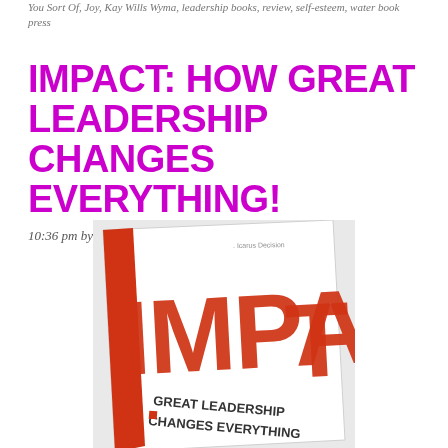You Sort Of, Joy, Ray Wills Wyma, leadership books, review, self-esteem, water book press
IMPACT: HOW GREAT LEADERSHIP CHANGES EVERYTHING!
10:36 pm by Aida J Ingram — 2 Comments
[Figure (photo): Photo of the book 'IMPACT: Great Leadership Changes Everything' showing the book cover with large red stamped letters reading IMPACT and subtitle text below on a white background with a red design element.]